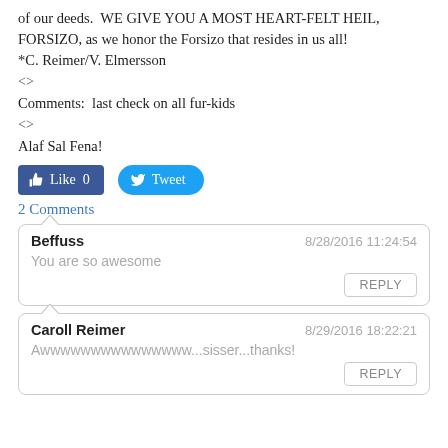of our deeds.  WE GIVE YOU A MOST HEART-FELT HEIL, FORSIZO, as we honor the Forsizo that resides in us all!
*C. Reimer/V. Elmersson
<>
Comments:  last check on all fur-kids
<>
Alaf Sal Fena!
[Figure (other): Facebook Like button showing 0 likes and Twitter Tweet button]
2 Comments
Beffuss
8/28/2016 11:24:54
You are so awesome
REPLY
Caroll Reimer
8/29/2016 18:22:21
Awwwwwwwwwwwwwww...sisser...thanks!
REPLY